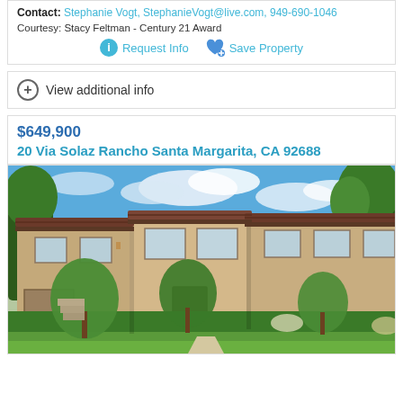Contact: Stephanie Vogt, StephanieVogt@live.com, 949-690-1046
Courtesy: Stacy Feltman - Century 21 Award
Request Info
Save Property
View additional info
$649,900
20 Via Solaz Rancho Santa Margarita, CA 92688
[Figure (photo): Exterior photo of a two-story tan/beige stucco townhouse complex with Spanish tile rooflines, large green trees and manicured shrubs in front, green lawn, blue sky with clouds.]